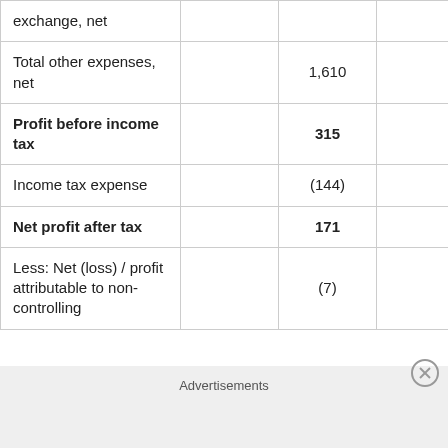|  |  |  |  |  |
| --- | --- | --- | --- | --- |
| exchange, net |  |  |  |  |
| Total other expenses, net |  | 1,610 |  |  |
| Profit before income tax |  | 315 |  |  |
| Income tax expense |  | (144) |  |  |
| Net profit after tax |  | 171 |  |  |
| Less: Net (loss) / profit attributable to non-controlling |  | (7) |  |  |
Advertisements